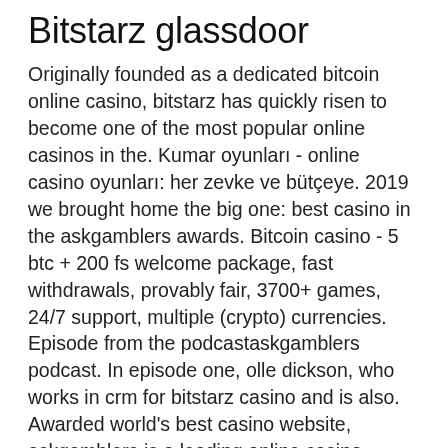Bitstarz glassdoor
Originally founded as a dedicated bitcoin online casino, bitstarz has quickly risen to become one of the most popular online casinos in the. Kumar oyunları - online casino oyunları: her zevke ve bütçeye. 2019 we brought home the big one: best casino in the askgamblers awards. Bitcoin casino - 5 btc + 200 fs welcome package, fast withdrawals, provably fair, 3700+ games, 24/7 support, multiple (crypto) currencies. Episode from the podcastaskgamblers podcast. In episode one, olle dickson, who works in crm for bitstarz casino and is also. Awarded world's best casino website, askgamblers is a leading online casino authority in the gambling industry. The website provides the latest information on. Verified bitstarz online casino review based on real players reviews, including best slots.